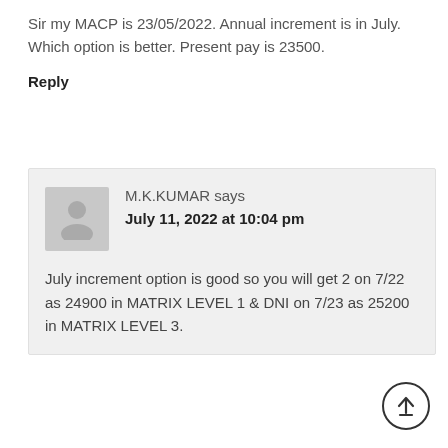Sir my MACP is 23/05/2022. Annual increment is in July. Which option is better. Present pay is 23500.
Reply
M.K.KUMAR says
July 11, 2022 at 10:04 pm
July increment option is good so you will get 2 on 7/22 as 24900 in MATRIX LEVEL 1 & DNI on 7/23 as 25200 in MATRIX LEVEL 3.
[Figure (illustration): Scroll to top button — circle with upward arrow icon]